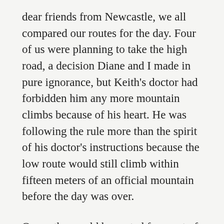dear friends from Newcastle, we all compared our routes for the day. Four of us were planning to take the high road, a decision Diane and I made in pure ignorance, but Keith's doctor had forbidden him any more mountain climbs because of his heart. He was following the rule more than the spirit of his doctor's instructions because the low route would still climb within fifteen meters of an official mountain before the day was over.
Our paths would be parted for most of the day and as we said our goodbyes, I sensed a bit of sad resignation in Keith's eyes at their taking the valley over the peaks. I know too well that growing old can be a bitter pill to swallow for a man who used to be unstoppable.
Diane and I set out energetically on the road with the